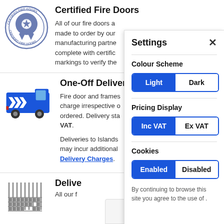[Figure (logo): Certified Fire Doors circular badge/seal logo with ribbon and star]
Certified Fire Doors
All of our fire doors a... made to order by our manufacturing partne... complete with certific... markings to verify the...
[Figure (illustration): Blue delivery van with arrow chevrons on side]
One-Off Delivery
Fire door and frames... charge irrespective o... ordered. Delivery sta... VAT. Deliveries to Islands may incur additional Delivery Charges.
[Figure (illustration): Grey grid/calendar icon]
Delive
All our f
Settings
Colour Scheme
Light / Dark toggle
Pricing Display
Inc VAT / Ex VAT toggle
Cookies
Enabled / Disabled toggle
By continuing to browse this site you agree to the use of .